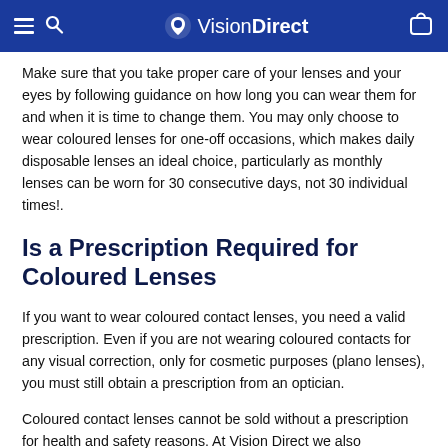VisionDirect
Make sure that you take proper care of your lenses and your eyes by following guidance on how long you can wear them for and when it is time to change them. You may only choose to wear coloured lenses for one-off occasions, which makes daily disposable lenses an ideal choice, particularly as monthly lenses can be worn for 30 consecutive days, not 30 individual times!.
Is a Prescription Required for Coloured Lenses
If you want to wear coloured contact lenses, you need a valid prescription. Even if you are not wearing coloured contacts for any visual correction, only for cosmetic purposes (plano lenses), you must still obtain a prescription from an optician.
Coloured contact lenses cannot be sold without a prescription for health and safety reasons. At Vision Direct we also recommend that you check the source you are buying them from is legitimate and reputable, as incorrect lenses and lens care procedures